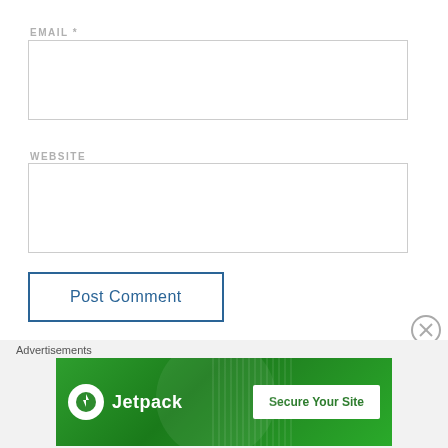EMAIL *
[Figure (other): Empty email input text field with light gray border]
WEBSITE
[Figure (other): Empty website input text field with light gray border]
[Figure (other): Post Comment button with blue border and blue text on white background]
NOTIFY ME OF NEW COMMENTS VIA EMAIL.
[Figure (other): Jetpack advertisement banner with green background, Jetpack logo and Secure Your Site button]
Advertisements